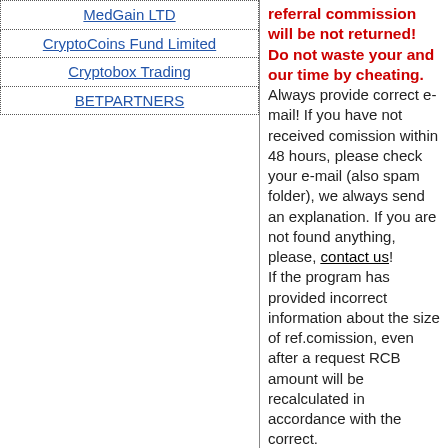| MedGain LTD |
| CryptoCoins Fund Limited |
| Cryptobox Trading |
| BETPARTNERS |
referral commission will be not returned! Do not waste your and our time by cheating. Always provide correct e-mail! If you have not received comission within 48 hours, please check your e-mail (also spam folder), we always send an explanation. If you are not found anything, please, contact us! If the program has provided incorrect information about the size of ref.comission, even after a request RCB amount will be recalculated in accordance with the correct. If you combine few requests to one - always inform us by the comments with all amounts of deposits. Due to the feature of the script, a deviation of 1 cent in the final payment of RCB is permissible.